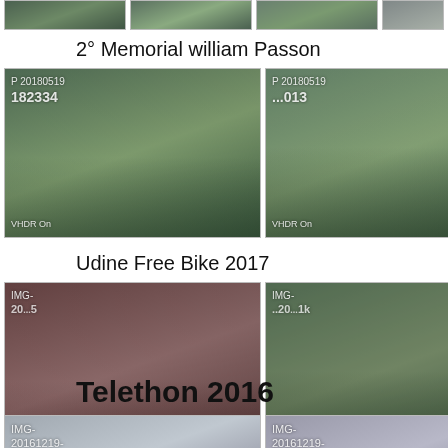[Figure (photo): Partial top strip of photo thumbnails cropped from previous section]
2° Memorial william Passon
[Figure (photo): Grid of 4 photo thumbnails for '2° Memorial william Passon' section. Three visible thumbnails labeled 'P 20180519 182334 VHDR On', 'P 20180519 ...013 VHDR On', 'P 20180519 1...301 VHDR On', and one partially visible 'IMG- 20...' on right edge.]
Udine Free Bike 2017
[Figure (photo): Grid of 4 photo thumbnails for 'Udine Free Bike 2017' section. Three visible thumbnails labeled 'IMG- 20...5 WA..U2...', 'IMG- ...20...1k WA...02...', 'IMG- 7092... 00...9', and one partially visible 'IMG- 20... WA' on right edge.]
Telethon 2016
[Figure (photo): Bottom partial row of photo thumbnails for 'Telethon 2016'. Three visible thumbnails labeled 'IMG- 20161219-', 'IMG- 20161219-', 'IMG- 20161219-' and one partially visible 'IMG- 20...' on right edge.]